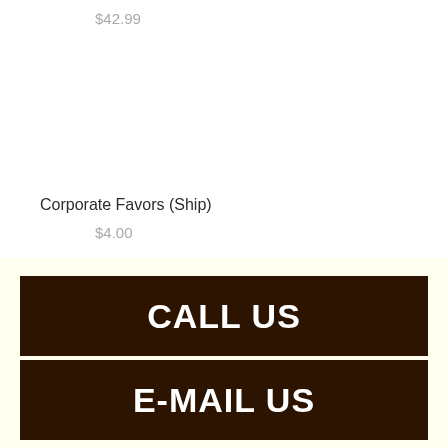$42.99
Corporate Favors (Ship)
$4.00
CALL US
E-MAIL US